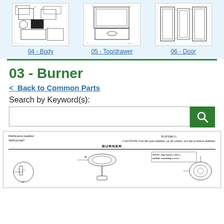[Figure (schematic): Three appliance part diagrams: 04 - Body, 05 - Top/drawer, 06 - Door]
04 - Body
05 - Top/drawer
06 - Door
03 - Burner
< Back to Common Parts
Search by Keyword(s):
[Figure (engineering-diagram): Burner parts diagram. Publication number 5995323467, model FGF356CG. CAUTION: Use the part number on all orders, not the position number. BURNER section shown with exploded parts numbered 47, 48 and others.]